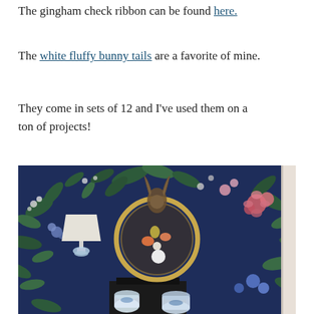The gingham check ribbon can be found here.
The white fluffy bunny tails are a favorite of mine.
They come in sets of 12 and I've used them on a ton of projects!
[Figure (photo): Interior room photo showing a round gold-framed mirror on a dark navy floral wallpaper background. A white lamp with decorative base is on the left. Colorful flowers and a white fluffy bunny tail decoration are visible in and around the mirror. Blue and white ginger jars are at the bottom.]